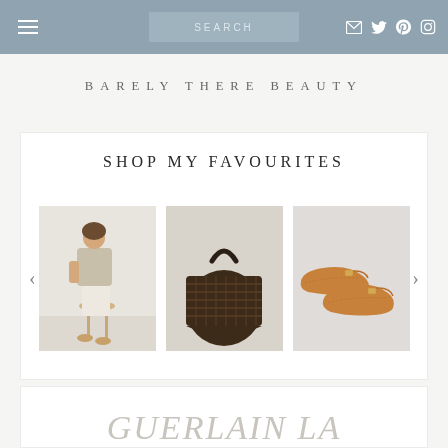Navigation bar with hamburger menu, search box, and social media icons (email, Twitter, Pinterest, Instagram)
BARELY THERE BEAUTY
SHOP MY FAVOURITES
[Figure (photo): Carousel showing three product images: a woman in neutral beige and white outfit sitting on a stool, a dark woven basket bag, and a pair of tan/cognac ballet flats with gold buckle detail. Navigation arrows on left and right sides.]
GUERLAIN LA